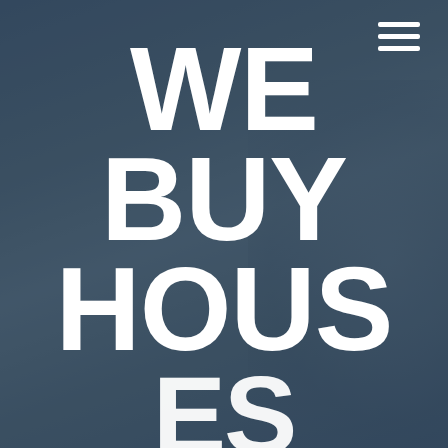[Figure (photo): Background photo of people with a dark blue overlay; blurred figures visible on the right side]
WE BUY HOUS[ES]